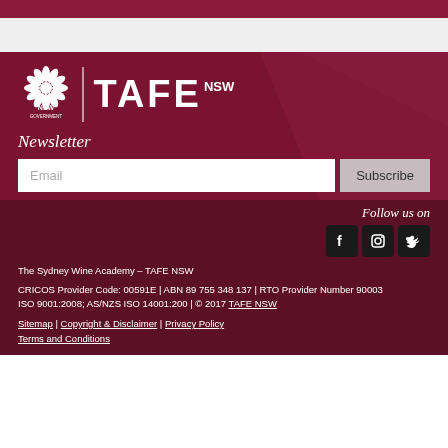[Figure (logo): NSW Government and TAFE NSW logos on dark red background]
Newsletter
Email  Subscribe
Follow us on
[Figure (other): Facebook, Instagram, Twitter social media icons]
The Sydney Wine Academy – TAFE NSW
CRICOS Provider Code: 00591E | ABN 89 755 348 137 | RTO Provider Number 90003
ISO 9001:2008; AS/NZS ISO 14001:200 | © 2017 TAFE NSW
Sitemap | Copyright & Disclaimer | Privacy Policy
Terms and Conditions